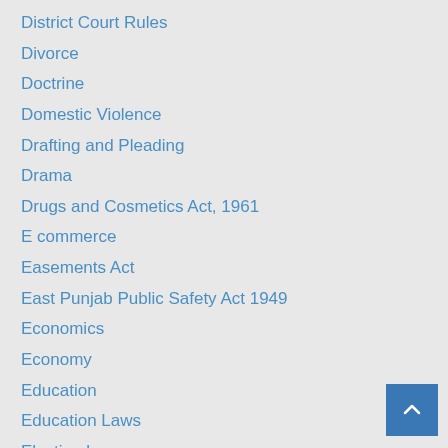District Court Rules
Divorce
Doctrine
Domestic Violence
Drafting and Pleading
Drama
Drugs and Cosmetics Act, 1961
E commerce
Easements Act
East Punjab Public Safety Act 1949
Economics
Economy
Education
Education Laws
Election law
Electricity Regulatory Commission
Electronic Commerce
Electronics
Employees State Insurance Act 1948